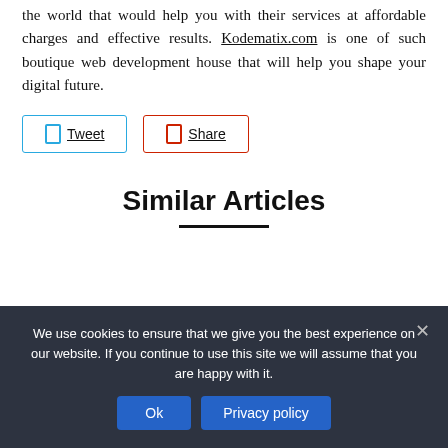the world that would help you with their services at affordable charges and effective results. Kodematix.com is one of such boutique web development house that will help you shape your digital future.
[Figure (other): Tweet and Share social buttons with blue and red borders respectively]
Similar Articles
We use cookies to ensure that we give you the best experience on our website. If you continue to use this site we will assume that you are happy with it.